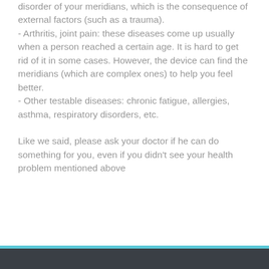disorder of your meridians, which is the consequence of external factors (such as a trauma).
- Arthritis, joint pain: these diseases come up usually when a person reached a certain age. It is hard to get rid of it in some cases. However, the device can find the meridians (which are complex ones) to help you feel better.
- Other testable diseases: chronic fatigue, allergies, asthma, respiratory disorders, etc.
Like we said, please ask your doctor if he can do something for you, even if you didn't see your health problem mentioned above